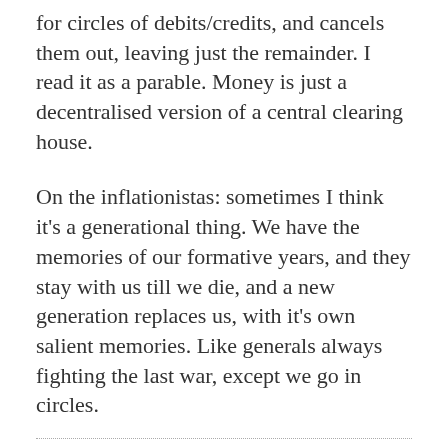for circles of debits/credits, and cancels them out, leaving just the remainder. I read it as a parable. Money is just a decentralised version of a central clearing house.
On the inflationistas: sometimes I think it's a generational thing. We have the memories of our formative years, and they stay with us till we die, and a new generation replaces us, with it's own salient memories. Like generals always fighting the last war, except we go in circles.
Posted by: Nick Rowe |